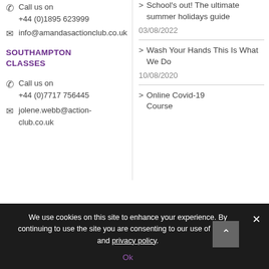Call us on +44 (0)1895 623999
info@amandasactionclub.co.uk
School's out! The ultimate summer holidays guide
03/08/2022
SOUTHAMPTON CLASSES
Wash Your Hands This Is What We Do
10/08/2020
Call us on +44 (0)7717 756445
jolene.webb@action-club.co.uk
Online Covid-19 Course
We use cookies on this site to enhance your experience. By continuing to use the site you are consenting to our use of cookies and privacy policy.
Ok